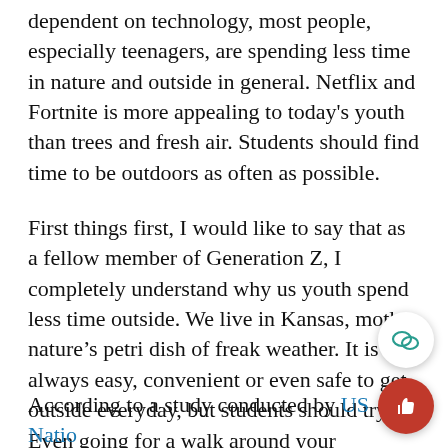dependent on technology, most people, especially teenagers, are spending less time in nature and outside in general. Netflix and Fortnite is more appealing to today's youth than trees and fresh air. Students should find time to be outdoors as often as possible.
First things first, I would like to say that as a fellow member of Generation Z, I completely understand why us youth spend less time outside. We live in Kansas, mother nature's petri dish of freak weather. It is not always easy, convenient or even safe to get outside everyday, but students should try. Even going for a walk around your neighborhood is better than sitting at home.
According to a study conducted by US National Library of Medicine National Institutes of